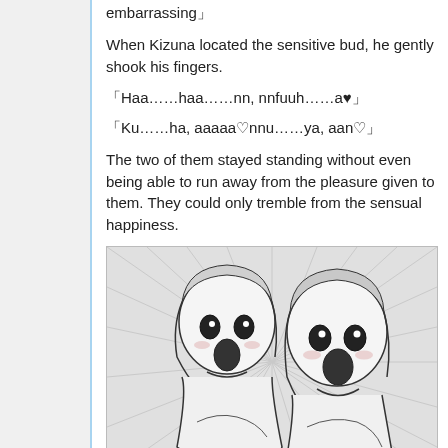embarrassing」
When Kizuna located the sensitive bud, he gently shook his fingers.
「Haa……haa……nn, nnfuuh……a♥」
「Ku……ha, aaaaa♡nnu……ya, aan♡」
The two of them stayed standing without even being able to run away from the pleasure given to them. They could only tremble from the sensual happiness.
[Figure (illustration): Manga-style black and white illustration of two anime girls with open mouths expressing shock/pleasure, with radiating lines in the background.]